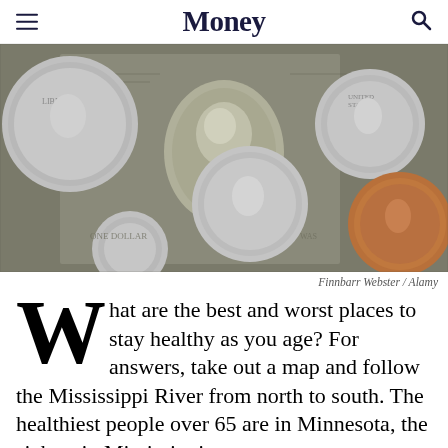Money
[Figure (photo): Close-up photo of US coins (quarters, dimes, pennies) scattered over a US dollar bill showing George Washington's portrait]
Finnbarr Webster / Alamy
What are the best and worst places to stay healthy as you age? For answers, take out a map and follow the Mississippi River from north to south. The healthiest people over 65 are in Minnesota, the sickest in Mississippi